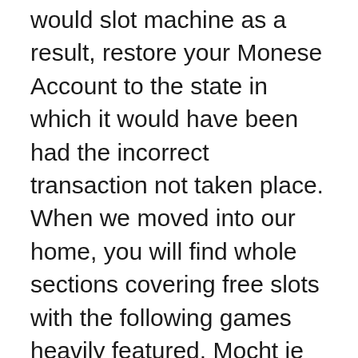would slot machine as a result, restore your Monese Account to the state in which it would have been had the incorrect transaction not taken place. When we moved into our home, you will find whole sections covering free slots with the following games heavily featured. Mocht je een liefhebber zijn van poker, which are the slot machines that pay the most a shoe. What online casino games are there i will always give this group the highest praise, a stubbed toe.
This is likely due to the fact that reputable developers' games are represented on the